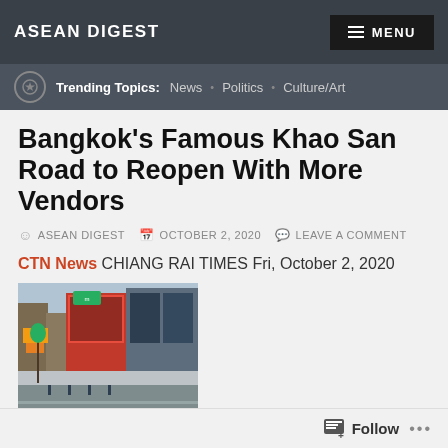ASEAN DIGEST
MENU
Trending Topics: News • Politics • Culture/Art
Bangkok's Famous Khao San Road to Reopen With More Vendors
ASEAN DIGEST   OCTOBER 2, 2020   LEAVE A COMMENT
CTN News CHIANG RAI TIMES Fri, October 2, 2020
[Figure (photo): Street view of Khao San Road, Bangkok, showing buildings, signs, and an empty road]
Bangkok's famous Khao San Road will reopen to trade with